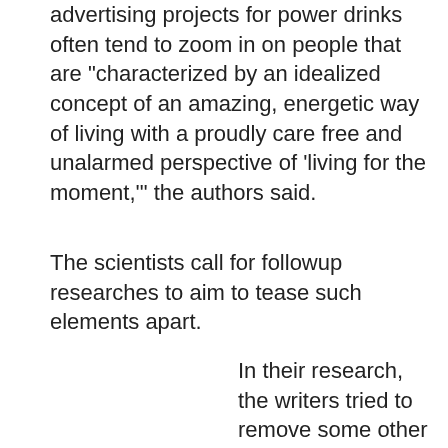advertising projects for power drinks often tend to zoom in on people that are "characterized by an idealized concept of an amazing, energetic way of living with a proudly care free and unalarmed perspective of 'living for the moment,'" the authors said.
The scientists call for followup researches to aim to tease such elements apart.
In their research, the writers tried to remove some other potentially complicating variables;